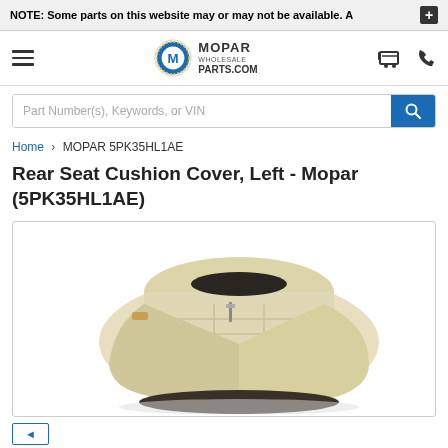NOTE: Some parts on this website may or may not be available. A
[Figure (logo): Mopar Wholesale Parts.com logo with circular M emblem]
Part Number(s), Keywords, or VIN
Home > MOPAR 5PK35HL1AE
Rear Seat Cushion Cover, Left - Mopar (5PK35HL1AE)
[Figure (photo): Beige/tan leather rear seat cushion cover for left side, shown folded, part number 5PK35HL1AE by Mopar]